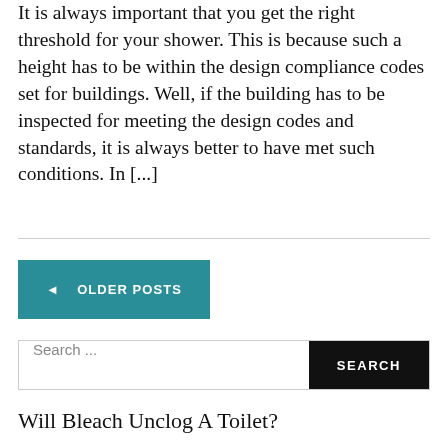It is always important that you get the right threshold for your shower. This is because such a height has to be within the design compliance codes set for buildings. Well, if the building has to be inspected for meeting the design codes and standards, it is always better to have met such conditions. In [...]
◄ OLDER POSTS
Search ...
Will Bleach Unclog A Toilet?